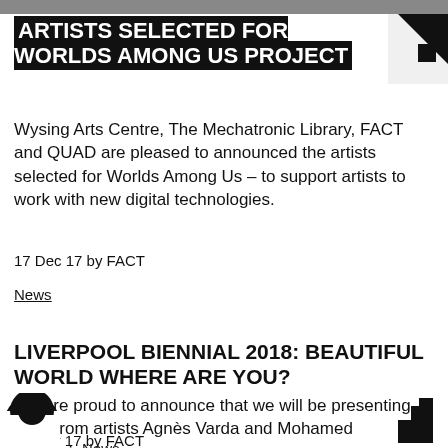ARTISTS SELECTED FOR WORLDS AMONG US PROJECT
Wysing Arts Centre, The Mechatronic Library, FACT and QUAD are pleased to announced the artists selected for Worlds Among Us – to support artists to work with new digital technologies.
17 Dec 17 by FACT
News
LIVERPOOL BIENNIAL 2018: BEAUTIFUL WORLD WHERE ARE YOU?
We are proud to announce that we will be presenting work from artists Agnès Varda and Mohamed Bourouissa.
15 Mar 17 by FACT
News